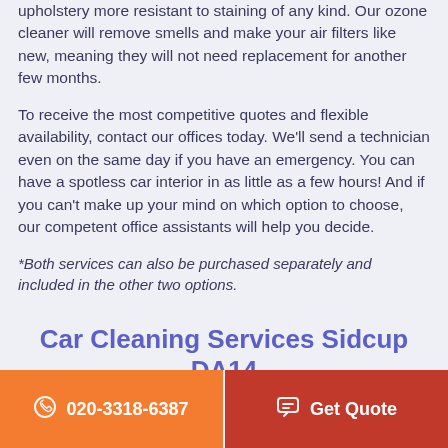upholstery more resistant to staining of any kind. Our ozone cleaner will remove smells and make your air filters like new, meaning they will not need replacement for another few months.
To receive the most competitive quotes and flexible availability, contact our offices today. We'll send a technician even on the same day if you have an emergency. You can have a spotless car interior in as little as a few hours! And if you can't make up your mind on which option to choose, our competent office assistants will help you decide.
*Both services can also be purchased separately and included in the other two options.
Car Cleaning Services Sidcup DA14
020-3318-6387
Get Quote